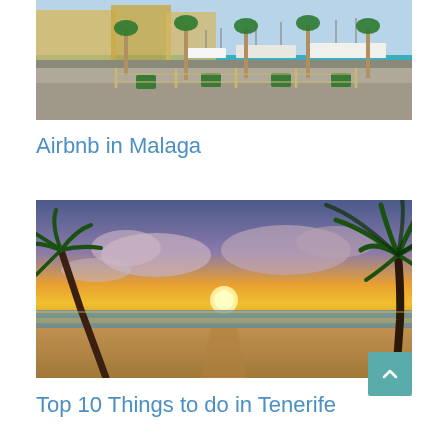[Figure (photo): Marina or harbor scene with turquoise water, boats, palm trees, and yellow buildings in the background — Malaga port area]
Airbnb in Malaga
[Figure (photo): Sunset beach scene with palm trees silhouetted against a dramatic orange and purple sky — Tenerife beach at golden hour]
Top 10 Things to do in Tenerife